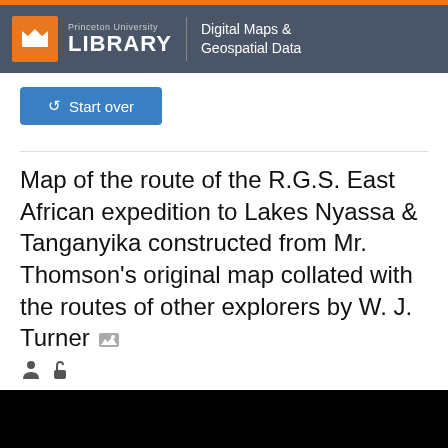Princeton University LIBRARY | Digital Maps & Geospatial Data
Start over
Map of the route of the R.G.S. East African expedition to Lakes Nyassa & Tanganyika constructed from Mr. Thomson's original map collated with the routes of other explorers by W. J. Turner
[Figure (other): Black image area at bottom of page]